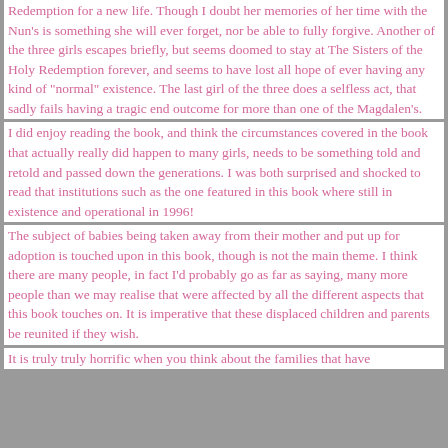Redemption for a new life. Though I doubt her memories of her time with the Nun's is something she will ever forget, nor be able to fully forgive. Another of the three girls escapes briefly, but seems doomed to stay at The Sisters of the Holy Redemption forever, and seems to have lost all hope of ever having any kind of "normal" existence. The last girl of the three does a selfless act, that sadly fails having a tragic end outcome for more than one of the Magdalen's.
I did enjoy reading the book, and think the circumstances covered in the book that actually really did happen to many girls, needs to be something told and retold and passed down the generations. I was both surprised and shocked to read that institutions such as the one featured in this book where still in existence and operational in 1996!
The subject of babies being taken away from their mother and put up for adoption is touched upon in this book, though is not the main theme. I think there are many people, in fact I'd probably go as far as saying, many more people than we may realise that were affected by all the different aspects that this book touches on. It is imperative that these displaced children and parents be reunited if they wish.
It is truly truly horrific when you think about the families that have